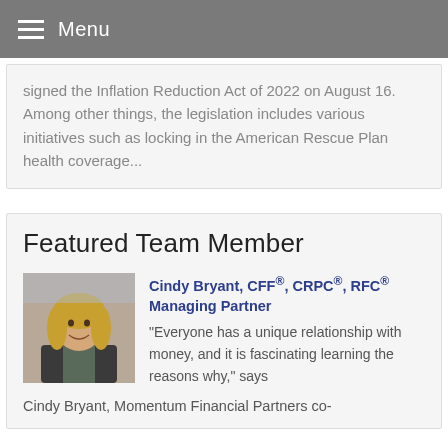Menu
signed the Inflation Reduction Act of 2022 on August 16. Among other things, the legislation includes various initiatives such as locking in the American Rescue Plan health coverage...
Featured Team Member
[Figure (photo): Professional headshot of Cindy Bryant, a woman with blonde hair wearing a dark blazer, smiling.]
Cindy Bryant, CFF®, CRPC®, RFC® Managing Partner
“Everyone has a unique relationship with money, and it is fascinating learning the reasons why,” says Cindy Bryant, Momentum Financial Partners co-